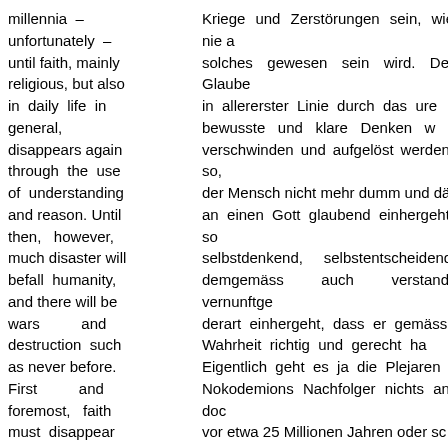millennia – unfortunately – until faith, mainly religious, but also in daily life in general, disappears again through the use of understanding and reason. Until then, however, much disaster will befall humanity, and there will be wars and destruction such as never before. First and foremost, faith must disappear
Kriege und Zerstörungen sein, wie nie solches gewesen sein wird. Der Glaube in allererster Linie durch das ure bewusste und klare Denken w verschwinden und aufgelöst werden, so, der Mensch nicht mehr dumm und dä an einen Gott glaubend einhergeht, son selbstdenkend, selbstentscheidend demgemäss auch verstand-vernunftge derart einhergeht, dass er gemäss Wahrheit richtig und gerecht ha Eigentlich geht es ja die Plejaren Nokodemions Nachfolger nichts an, doc vor etwa 25 Millionen Jahren oder so alten Plejaren das Energietor zu uns Raum-Zeit-Gefüge entdeckten und d dieses in dieses DERN-Unive vordrangen, da gelangten die For damals eben letztendlich auch zur Erde so war es dann eben geschehen,